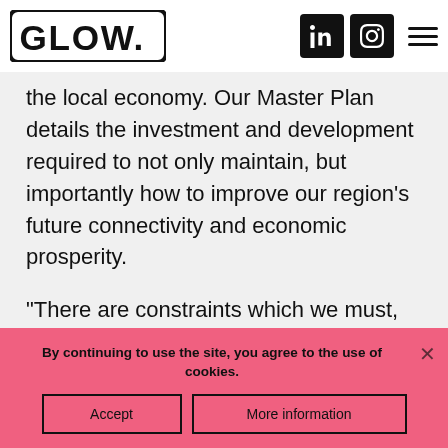GLOW. [logo] [LinkedIn icon] [Instagram icon] [hamburger menu]
the local economy. Our Master Plan details the investment and development required to not only maintain, but importantly how to improve our region's future connectivity and economic prosperity.
“There are constraints which we must, together with our local communities, overcome if we are to realise our ambition. Southampton Airport has one of the shortest runways in the UK and is
By continuing to use the site, you agree to the use of cookies.
Accept
More information